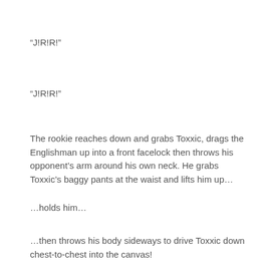“J!R!R!”
“J!R!R!”
The rookie reaches down and grabs Toxxic, drags the Englishman up into a front facelock then throws his opponent’s arm around his own neck. He grabs Toxxic’s baggy pants at the waist and lifts him up…
…holds him…
…then throws his body sideways to drive Toxxic down chest-to-chest into the canvas!